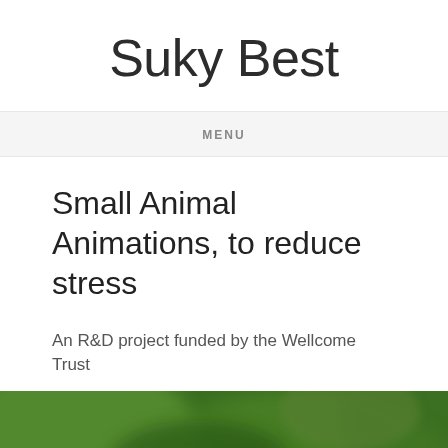Suky Best
MENU
Small Animal Animations, to reduce stress
An R&D project funded by the Wellcome Trust
[Figure (photo): Close-up blurred green background with small glowing white dots resembling tiny animals or fireflies in a natural setting]